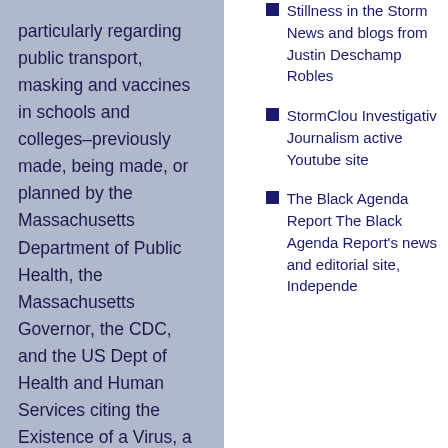particularly regarding public transport, masking and vaccines in schools and colleges–previously made, being made, or planned by the Massachusetts Department of Public Health, the Massachusetts Governor, the CDC, and the US Dept of Health and Human Services citing the Existence of a Virus, a Variant, a
Stillness in the Storm News and blogs from Justin Deschamp Robles
StormClouds Investigative Journalism active Youtube site
The Black Agenda Report The Black Agenda Report's news and editorial site, Independe...